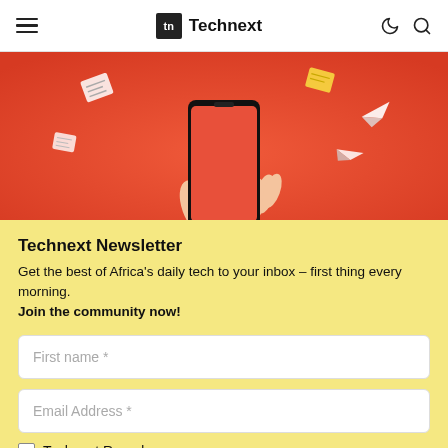Technext
[Figure (illustration): Hand holding a smartphone against an orange/red background with paper airplanes and notes flying around it, representing a newsletter or messaging app.]
Technext Newsletter
Get the best of Africa's daily tech to your inbox – first thing every morning. Join the community now!
First name *
Email Address *
Technext Roundup
Crypto Roundup